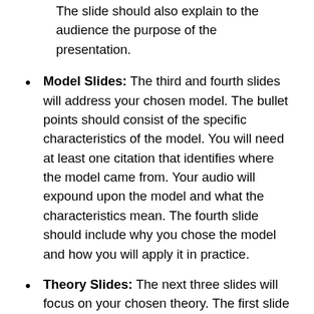The slide should also explain to the audience the purpose of the presentation.
Model Slides: The third and fourth slides will address your chosen model. The bullet points should consist of the specific characteristics of the model. You will need at least one citation that identifies where the model came from. Your audio will expound upon the model and what the characteristics mean. The fourth slide should include why you chose the model and how you will apply it in practice.
Theory Slides: The next three slides will focus on your chosen theory. The first slide should present your theory and why you chose it. The next slide would present the key concepts of the theory and how it has been used to date in past research no older than 5 years ago. The third slide will discuss how you will use this theory in practice as an